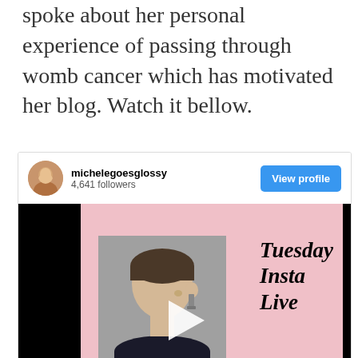spoke about her personal experience of passing through womb cancer which has motivated her blog. Watch it bellow.
[Figure (screenshot): Instagram post embed from michelegoesglossy with 4,641 followers, showing a View profile button and a video thumbnail with a pink background. The video shows a woman in profile view with text 'Tuesday Insta Live' and 'Womb' visible, with a play button overlay.]